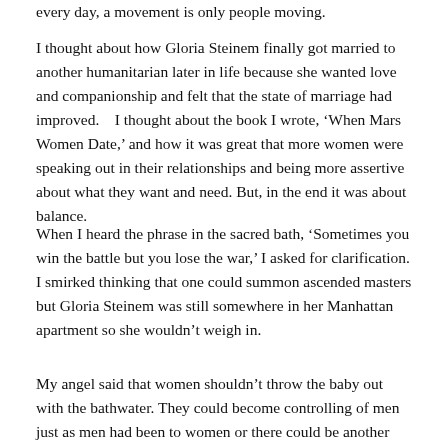every day, a movement is only people moving.
I thought about how Gloria Steinem finally got married to another humanitarian later in life because she wanted love and companionship and felt that the state of marriage had improved.    I thought about the book I wrote, ‘When Mars Women Date,’ and how it was great that more women were speaking out in their relationships and being more assertive about what they want and need. But, in the end it was about balance.
When I heard the phrase in the sacred bath, ‘Sometimes you win the battle but you lose the war,’ I asked for clarification. I smirked thinking that one could summon ascended masters but Gloria Steinem was still somewhere in her Manhattan apartment so she wouldn’t weigh in.
My angel said that women shouldn’t throw the baby out with the bathwater. They could become controlling of men just as men had been to women or there could be another way. They could let relationships become a joint investment...